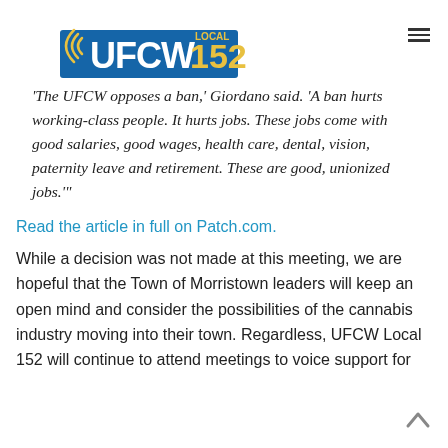[Figure (logo): UFCW Local 152 logo — 'a VOICE for working America' with signal wave graphic, blue and gold text]
‘The UFCW opposes a ban,’ Giordano said. ‘A ban hurts working-class people. It hurts jobs. These jobs come with good salaries, good wages, health care, dental, vision, paternity leave and retirement. These are good, unionized jobs.’”
Read the article in full on Patch.com.
While a decision was not made at this meeting, we are hopeful that the Town of Morristown leaders will keep an open mind and consider the possibilities of the cannabis industry moving into their town. Regardless, UFCW Local 152 will continue to attend meetings to voice support for